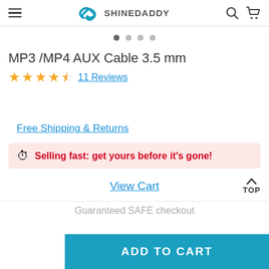SHINEDADDY
MP3 /MP4 AUX Cable 3.5 mm
★★★★☆ 11 Reviews
Free Shipping & Returns
⏱ Selling fast: get yours before it's gone!
View Cart
Guaranteed SAFE checkout
ADD TO CART